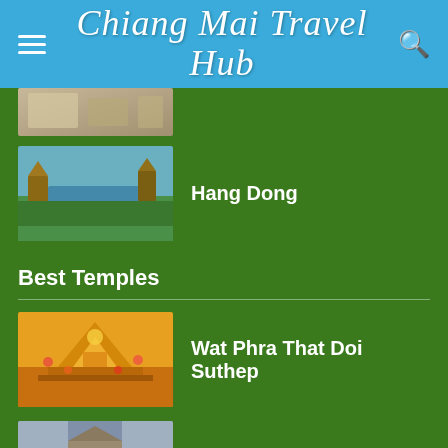Chiang Mai Travel Hub
[Figure (photo): Partial thumbnail of a location at top of list (cropped)]
Hang Dong
Best Temples
Wat Phra That Doi Suthep
Wat Chedi Luang
Wat Phra Singh
Wat Rong Khun